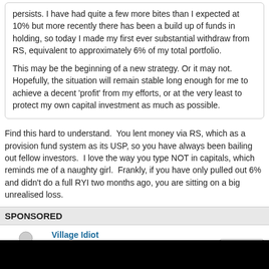persists. I have had quite a few more bites than I expected at 10% but more recently there has been a build up of funds in holding, so today I made my first ever substantial withdraw from RS, equivalent to approximately 6% of my total portfolio.

This may be the beginning of a new strategy. Or it may not. Hopefully, the situation will remain stable long enough for me to achieve a decent 'profit' from my efforts, or at the very least to protect my own capital investment as much as possible.
Find this hard to understand.  You lent money via RS, which as a provision fund system as its USP, so you have always been bailing out fellow investors.  I love the way you type NOT in capitals, which reminds me of a naughty girl.  Frankly, if you have only pulled out 6% and didn't do a full RYI two months ago, you are sitting on a big unrealised loss.
SPONSORED
Village Idiot
Member of DD Central
May 26, 2020 at 8:16pm
mikeb, r00lish67, and 2 more like this
shanghaiscouse said:
coogaruk said: